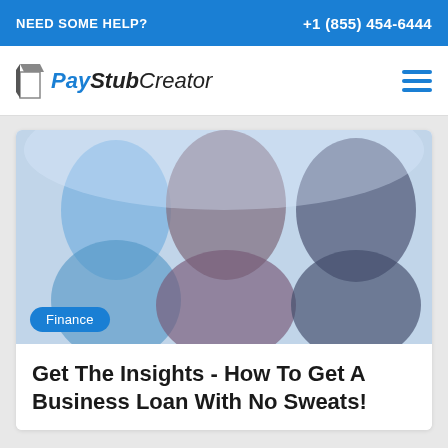NEED SOME HELP?   +1 (855) 454-6444
[Figure (logo): PayStubCreator logo with hamburger menu icon]
[Figure (photo): Blurred photo of a group of people (business setting), with a 'Finance' category badge overlaid at bottom left]
Get The Insights - How To Get A Business Loan With No Sweats!